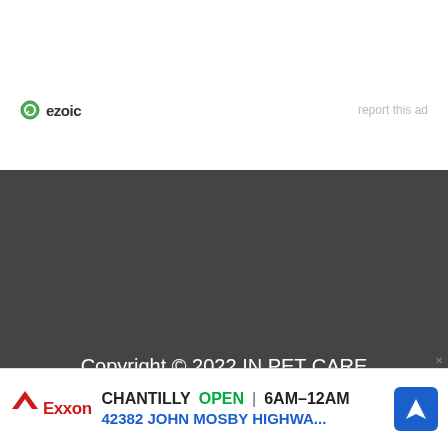[Figure (logo): Ezoic logo with green circle icon and bold text 'ezoic']
report this ad
Copyright © 2022 IN PET CARE
[Figure (screenshot): Overlay media player showing a dog photo on left side and 'No compatible source was found for this media.' message on right with INPETCARE logo and Guide to Pet Animals tagline, with close X buttons]
Advertise
Privacy Policy · Disclaimer About us
Contact Us
[Figure (screenshot): Bottom ad banner: Exxon logo, CHANTILLY OPEN 6AM–12AM, 42382 JOHN MOSBY HIGHWA..., navigation icon]